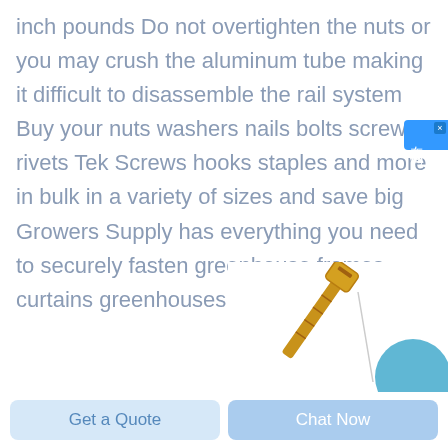inch pounds Do not overtighten the nuts or you may crush the aluminum tube making it difficult to disassemble the rail system Buy your nuts washers nails bolts screws rivets Tek Screws hooks staples and more in bulk in a variety of sizes and save big Growers Supply has everything you need to securely fasten greenhouse frames curtains greenhouses
[Figure (photo): Partial image of a gold/brass screw or fastener with a blue circle element, visible at the bottom right of the page]
Get a Quote
Chat Now